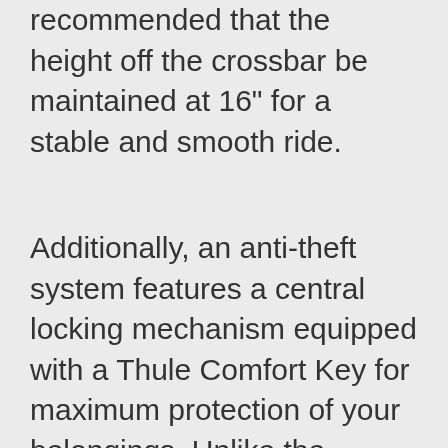recommended that the height off the crossbar be maintained at 16″ for a stable and smooth ride.
Additionally, an anti-theft system features a central locking mechanism equipped with a Thule Comfort Key for maximum protection of your belongings. Unlike the RocketBox pro, the Pulse opens only from the passenger side.